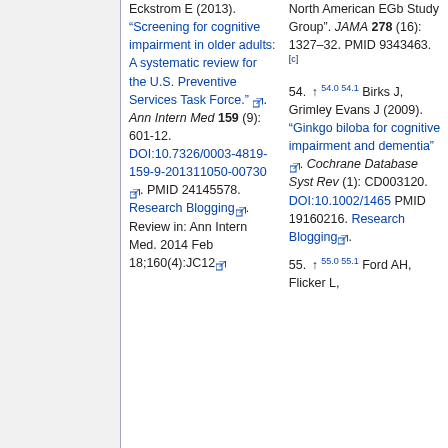Eckstrom E (2013). "Screening for cognitive impairment in older adults: A systematic review for the U.S. Preventive Services Task Force." Ann Intern Med 159 (9): 601-12. DOI:10.7326/0003-4819-159-9-201311050-00730. PMID 24145578. Research Blogging. Review in: Ann Intern Med. 2014 Feb 18;160(4):JC12
54. ↑ 54.0 54.1 Birks J, Grimley Evans J (2009). "Ginkgo biloba for cognitive impairment and dementia". Cochrane Database Syst Rev (1): CD003120. DOI:10.1002/1465... PMID 19160216. Research Blogging.
55. ↑ 55.0 55.1 Ford AH, Flicker L,